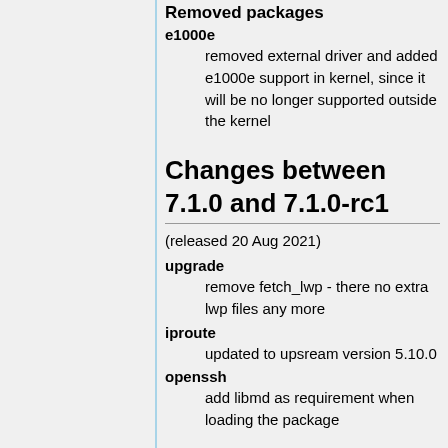Removed packages
e1000e
removed external driver and added e1000e support in kernel, since it will be no longer supported outside the kernel
Changes between 7.1.0 and 7.1.0-rc1
(released 20 Aug 2021)
upgrade
remove fetch_lwp - there no extra lwp files any more
iproute
updated to upsream version 5.10.0
openssh
add libmd as requirement when loading the package